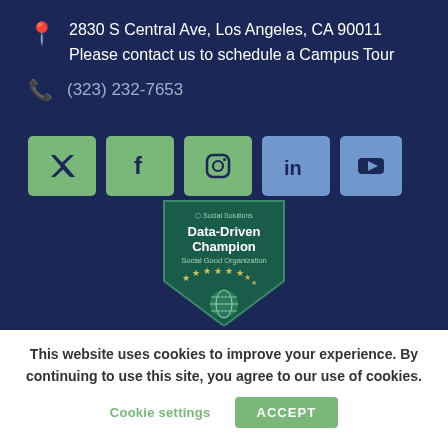2830 S Central Ave, Los Angeles, CA 90011
Please contact us to schedule a Campus Tour
(323) 232-7653
[Figure (other): Row of social media icon buttons: Twitter (X), Facebook, Instagram, LinkedIn, YouTube]
[Figure (illustration): Social Solutions Data-Driven Champion Social Good Organization badge with stars and globe icon]
This website uses cookies to improve your experience. By continuing to use this site, you agree to our use of cookies.
Cookie settings
ACCEPT